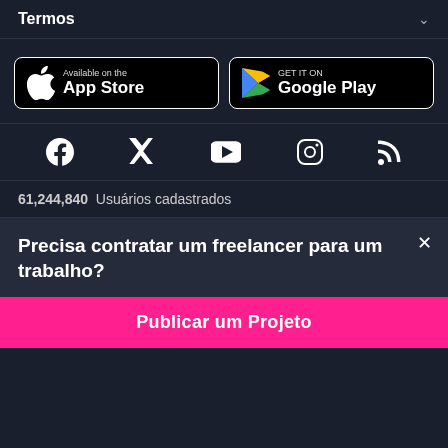Termos
[Figure (logo): App Store download button with Apple logo]
[Figure (logo): Google Play download button with Play Store logo]
[Figure (infographic): Social media icons row: Facebook, Twitter, YouTube, Instagram, RSS]
61,244,840 Usuários cadastrados
Precisa contratar um freelancer para um trabalho?
Publicar um Projeto